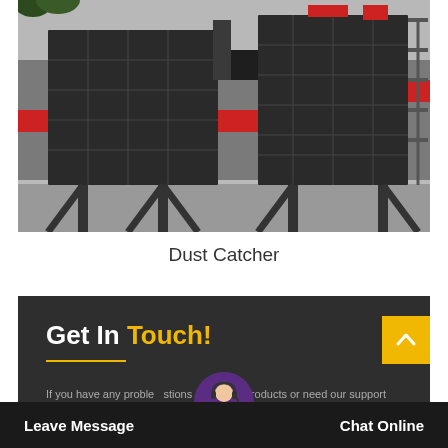[Figure (photo): Industrial dust catcher/collector equipment mounted on the exterior of a building, consisting of large rectangular dark metal filtration units with diagonal support struts, red accent stripe on building facade, concrete platform base.]
Dust Catcher
Get In Touch!
If you have any problems or questions about our products or need our support and assistance, please
Leave Message
Chat Online